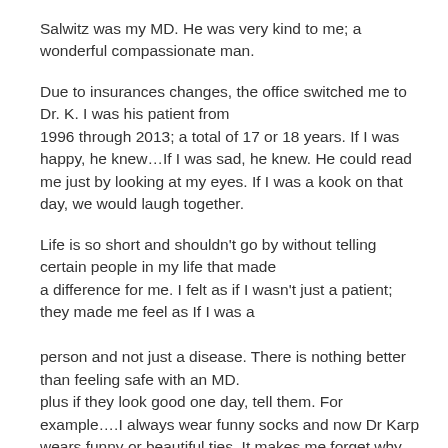Salwitz was my MD. He was very kind to me; a wonderful compassionate man.
Due to insurances changes, the office switched me to Dr. K. I was his patient from 1996 through 2013; a total of 17 or 18 years. If I was happy, he knew…If I was sad, he knew. He could read me just by looking at my eyes. If I was a kook on that day, we would laugh together.
Life is so short and shouldn't go by without telling certain people in my life that made a difference for me. I felt as if I wasn't just a patient; they made me feel as If I was a person and not just a disease. There is nothing better than feeling safe with an MD. plus if they look good one day, tell them. For example….I always wear funny socks and now Dr Karp wears funny or beautiful ties. It makes me forget why I'm there. I feel MD's must laugh during the day too. Reciprocate and that's how they know the real you, as someone mentioned, you will get to know the real man/woman beneathe the white